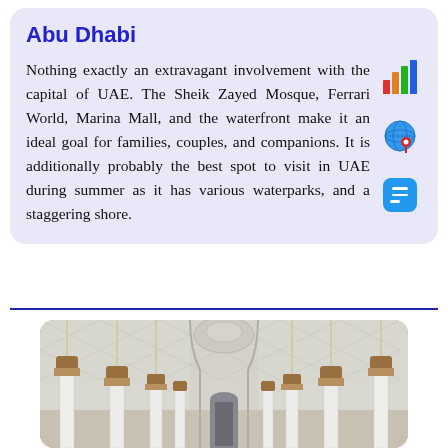Abu Dhabi
Nothing exactly an extravagant involvement with the capital of UAE. The Sheik Zayed Mosque, Ferrari World, Marina Mall, and the waterfront make it an ideal goal for families, couples, and companions. It is additionally probably the best spot to visit in UAE during summer as it has various waterparks, and a staggering shore.
[Figure (photo): Interior of Sheik Zayed Mosque showing ornate white arches, decorative columns with gold/brown capitals, and chandelier-lit corridor.]